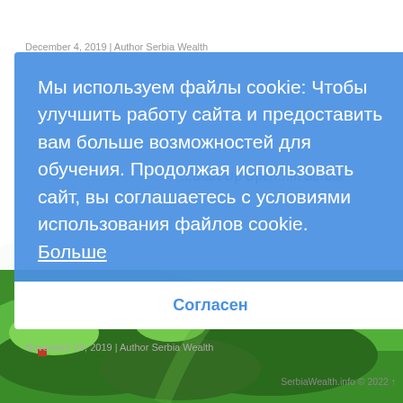[Figure (photo): Aerial view of lush green forested hills and valleys in Serbia, vibrant green landscape with winding roads]
December 4, 2019 | Author Serbia Wealth
November 29, 2019 | Author Serbia Wealth
SerbiаWealth.info © 2022 ↑
Мы используем файлы cookie: Чтобы улучшить работу сайта и предоставить вам больше возможностей для обучения. Продолжая использовать сайт, вы соглашаетесь с условиями использования файлов cookie.  Больше
Согласен